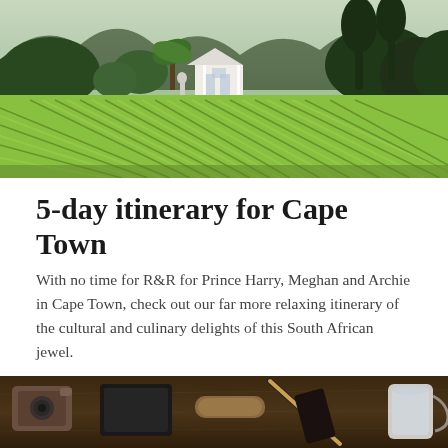[Figure (photo): Aerial view of a vineyard with green vine rows, a white Cape Dutch farmhouse in the middle, and dark green trees and mountains in the background]
5-day itinerary for Cape Town
With no time for R&R for Prince Harry, Meghan and Archie in Cape Town, check out our far more relaxing itinerary of the cultural and culinary delights of this South African jewel.
READ MORE
[Figure (photo): Dark wooden table top with travel items: a camera, phone, notebook, pen, and a cup/mug visible at the right edge]